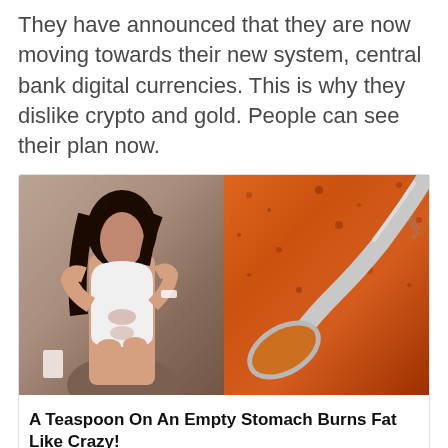They have announced that they are now moving towards their new system, central bank digital currencies. This is why they dislike crypto and gold. People can see their plan now.
[Figure (photo): Advertisement image split in two: left side shows a athletic woman in a white sports top showing her abs, right side shows a metal teaspoon filled with orange spice/powder against an orange spice background. Text label 'tsp 1' visible on spoon.]
A Teaspoon On An Empty Stomach Burns Fat Like Crazy!
Find Out More
[Figure (photo): Partial view of a person with blonde/light hair against a blue background, cropped at bottom of page.]